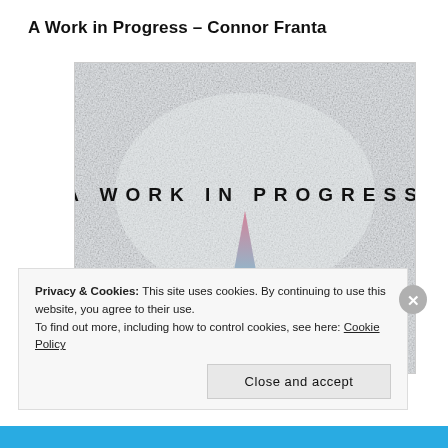A Work in Progress – Connor Franta
[Figure (illustration): Book cover for 'A Work in Progress' by Connor Franta. Light gray/white textured background with the title 'A WORK IN PROGRESS' in spaced sans-serif uppercase letters across the middle. A tall narrow triangular shape (converging perspective lines forming a pointed spire or road vanishing point) extends from the bottom center upward, colored with a gradient from pink/rose at the top to teal/blue at the bottom.]
Privacy & Cookies: This site uses cookies. By continuing to use this website, you agree to their use.
To find out more, including how to control cookies, see here: Cookie Policy
Close and accept